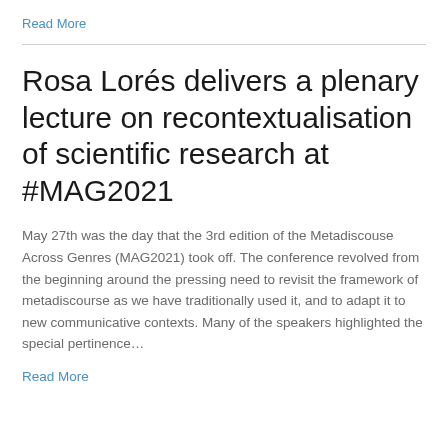Read More
Rosa Lorés delivers a plenary lecture on recontextualisation of scientific research at #MAG2021
May 27th was the day that the 3rd edition of the Metadiscouse Across Genres (MAG2021) took off. The conference revolved from the beginning around the pressing need to revisit the framework of metadiscourse as we have traditionally used it, and to adapt it to new communicative contexts. Many of the speakers highlighted the special pertinence…
Read More